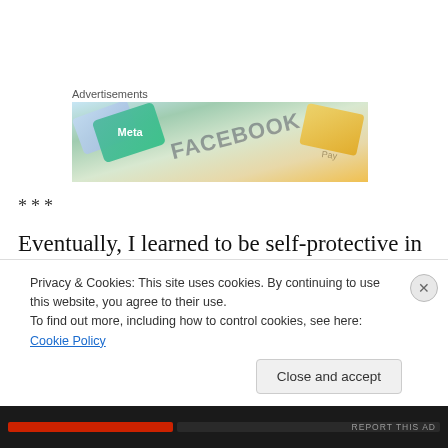Advertisements
[Figure (photo): Advertisement banner showing colorful credit/gift cards including Meta and Facebook branded cards]
***
Eventually, I learned to be self-protective in my friendships. I learned to expect that others would not love me with the fierceness and loyalty I felt towards them. I learned to guard myself from being too eager to avoid...
Privacy & Cookies: This site uses cookies. By continuing to use this website, you agree to their use.
To find out more, including how to control cookies, see here: Cookie Policy
Close and accept